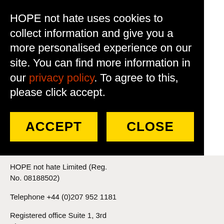HOPE not hate uses cookies to collect information and give you a more personalised experience on our site. You can find more information in our privacy policy. To agree to this, please click accept.
ACCEPT
CLOSE
HOPE not hate Limited (Reg. No. 08188502)
Telephone +44 (0)207 952 1181
Registered office Suite 1, 3rd Floor, 11-12 St. James's Square, London SW1Y 4LB, United Kingdom.
HOPE not hate Limited